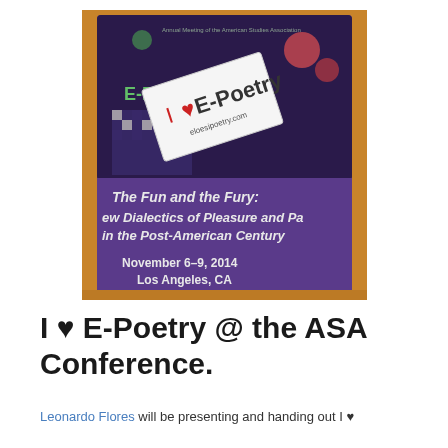[Figure (photo): Photo of a conference program booklet with a purple cover reading 'The Fun and the Fury: New Dialectics of Pleasure and Pain in the Post-American Century, November 6-9, 2014, Los Angeles, CA' with an 'I ♥ E-Poetry' business card placed on top.]
I ♥ E-Poetry @ the ASA Conference.
Leonardo Flores will be presenting and handing out I ♥